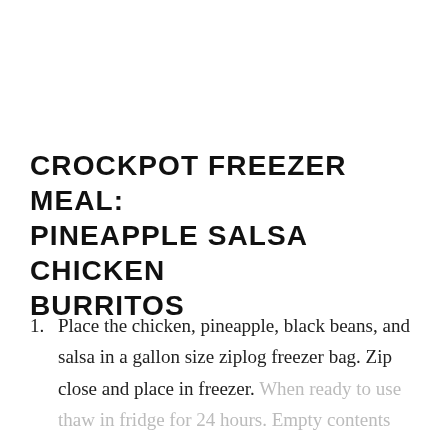CROCKPOT FREEZER MEAL: PINEAPPLE SALSA CHICKEN BURRITOS
Place the chicken, pineapple, black beans, and salsa in a gallon size ziplog freezer bag. Zip close and place in freezer. When ready to use thaw in fridge for 24 hours. Empty contents